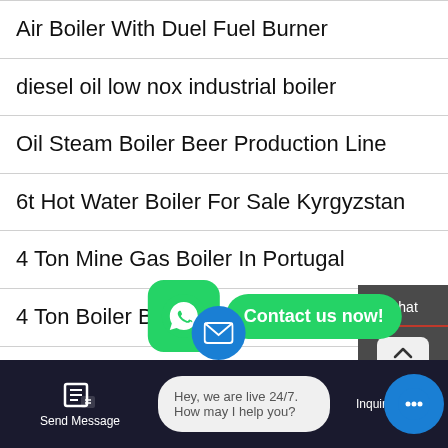Air Boiler With Duel Fuel Burner
diesel oil low nox industrial boiler
Oil Steam Boiler Beer Production Line
6t Hot Water Boiler For Sale Kyrgyzstan
4 Ton Mine Gas Boiler In Portugal
4 Ton Boiler Brand Agent Price Georgia
Multi Fuel Steam Boiler in factory price
Hot Water Boiler Seller 8t Ukraine
[Figure (screenshot): Right sidebar with Chat, TOP button, and Email options on dark grey background]
[Figure (screenshot): WhatsApp popup with green icon and 'Contact us now!' bubble]
[Figure (screenshot): Bottom navigation bar with Send Message, live chat widget 'Hey, we are live 24/7. How may I help you?', and Inquiry Online]